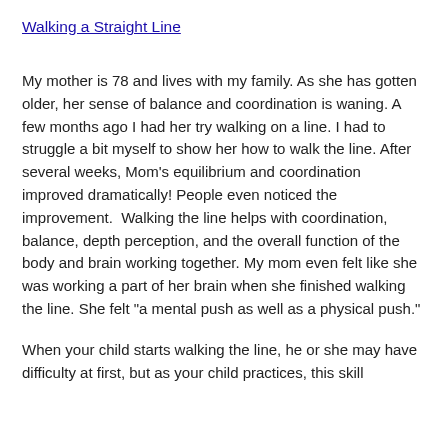Walking a Straight Line
My mother is 78 and lives with my family. As she has gotten older, her sense of balance and coordination is waning. A few months ago I had her try walking on a line. I had to struggle a bit myself to show her how to walk the line. After several weeks, Mom's equilibrium and coordination  improved dramatically! People even noticed the improvement.  Walking the line helps with coordination, balance, depth perception, and the overall function of the body and brain working together. My mom even felt like she was working a part of her brain when she finished walking the line. She felt "a mental push as well as a physical push."
When your child starts walking the line, he or she may have difficulty at first, but as your child practices, this skill